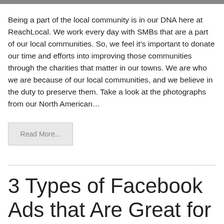[Figure (photo): Cropped image bar at the top of the page showing partial photographs]
Being a part of the local community is in our DNA here at ReachLocal. We work every day with SMBs that are a part of our local communities. So, we feel it’s important to donate our time and efforts into improving those communities through the charities that matter in our towns. We are who we are because of our local communities, and we believe in the duty to preserve them. Take a look at the photographs from our North American…
Read More...
3 Types of Facebook Ads that Are Great for the Holiday